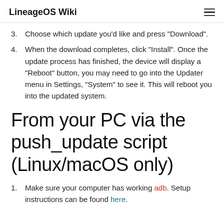LineageOS Wiki
3. Choose which update you'd like and press "Download".
4. When the download completes, click "Install". Once the update process has finished, the device will display a "Reboot" button, you may need to go into the Updater menu in Settings, "System" to see it. This will reboot you into the updated system.
From your PC via the push_update script (Linux/macOS only)
1. Make sure your computer has working adb. Setup instructions can be found here.